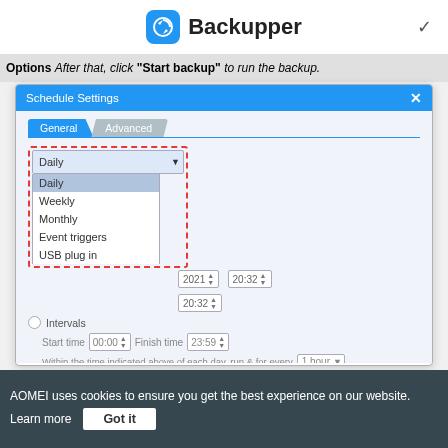Backupper
Options After that, click "Start backup" to run the backup.
[Figure (screenshot): Schedule Settings dialog with General/Advanced tabs. A dropdown is open showing options: Daily (selected/highlighted), Weekly, Monthly, Event triggers, USB plug in. Date fields show 2021, time 20:32. An Intervals radio option with Start time 00:00 and Finish time 23:59. A 'Within the time indicated above of each day, run & for every 1 hour' dropdown. Checkboxes for 'Wake the computer to run scheduled tasks' and 'After the scheduled task is completed: Shut down PC' with orange toggle.]
AOMEI uses cookies to ensure you get the best experience on our website. Learn more  Got it